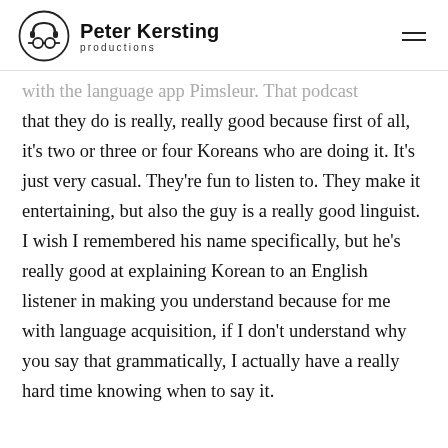Peter Kersting productions
with the language app Pimsleur. That podcast that they do is really, really good because first of all, it's two or three or four Koreans who are doing it. It's just very casual. They're fun to listen to. They make it entertaining, but also the guy is a really good linguist. I wish I remembered his name specifically, but he's really good at explaining Korean to an English listener in making you understand because for me with language acquisition, if I don't understand why you say that grammatically, I actually have a really hard time knowing when to say it.